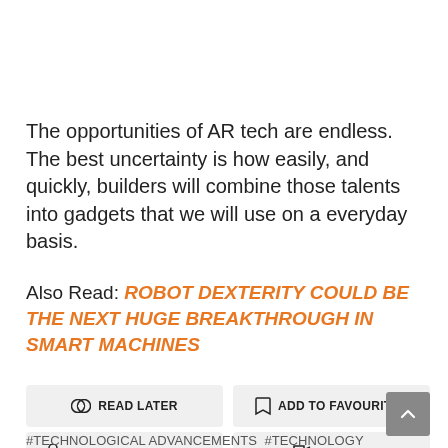The opportunities of AR tech are endless. The best uncertainty is how easily, and quickly, builders will combine those talents into gadgets that we will use on a everyday basis.
Also Read: ROBOT DEXTERITY COULD BE THE NEXT HUGE BREAKTHROUGH IN SMART MACHINES
READ LATER
ADD TO FAVOURITES
ADD TO COLLECTION
REPORT
#TECHNOLOGICAL ADVANCEMENTS  #TECHNOLOGY